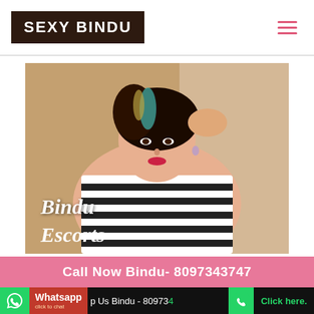SEXY BINDU
[Figure (photo): Young woman with dark and highlighted hair wearing a striped top, posing with hand in hair. Text overlay reads 'Bindu Escorts' in italic white font.]
Call Now Bindu- 8097343747
Whatsapp Us Bindu - 8097343747  Click here.